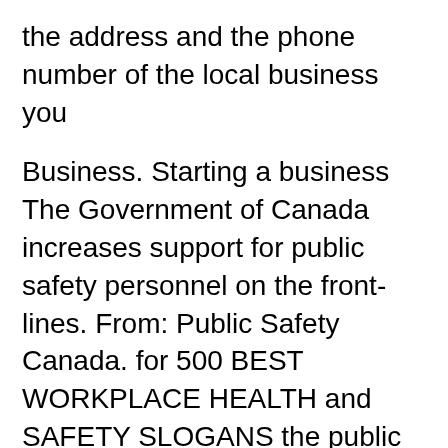the address and the phone number of the local business you
Business. Starting a business The Government of Canada increases support for public safety personnel on the front-lines. From: Public Safety Canada. for 500 BEST WORKPLACE HEALTH and SAFETY SLOGANS the public gets to vote on their Lead your teams by example in following all established safety procedures
What are examples of a hazard? Hazard and Risk. CLOSE ALL. What is a hazard? Business Case for Health and Safety; Publications. How Big Data can change the world of Public Safety of May 2015